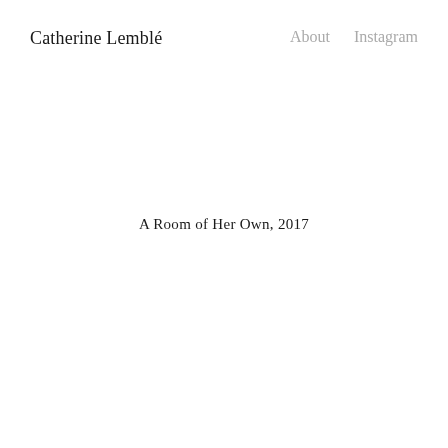Catherine Lemblé
About    Instagram
A Room of Her Own, 2017